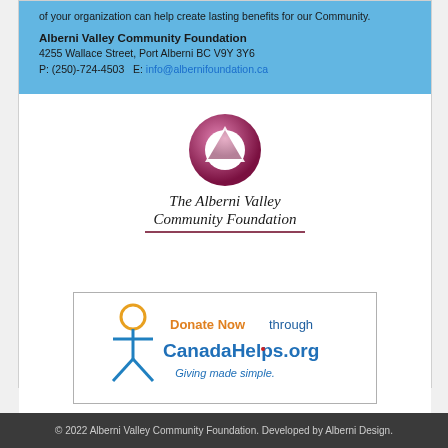of your organization can help create lasting benefits for our Community.
Alberni Valley Community Foundation
4255 Wallace Street, Port Alberni BC V9Y 3Y6
P: (250)-724-4503   E: info@albernifoundation.ca
[Figure (logo): The Alberni Valley Community Foundation logo — circular pink/maroon icon with triangle, italic serif text below reading 'The Alberni Valley Community Foundation' with a dark red underline]
[Figure (logo): CanadaHelps.org Donate Now logo — yellow figure icon, orange 'Donate Now' text, blue 'CanadaHelps.org' text, tagline 'Giving made simple.' in blue]
© 2022 Alberni Valley Community Foundation. Developed by Alberni Design.